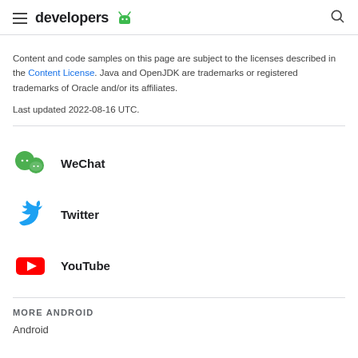developers
Content and code samples on this page are subject to the licenses described in the Content License. Java and OpenJDK are trademarks or registered trademarks of Oracle and/or its affiliates.
Last updated 2022-08-16 UTC.
WeChat
Twitter
YouTube
MORE ANDROID
Android